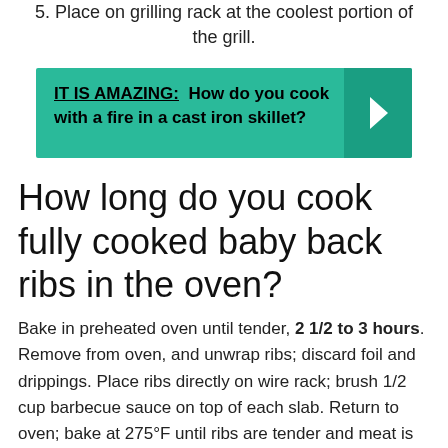5. Place on grilling rack at the coolest portion of the grill.
IT IS AMAZING: How do you cook with a fire in a cast iron skillet?
How long do you cook fully cooked baby back ribs in the oven?
Bake in preheated oven until tender, 2 1/2 to 3 hours. Remove from oven, and unwrap ribs; discard foil and drippings. Place ribs directly on wire rack; brush 1/2 cup barbecue sauce on top of each slab. Return to oven; bake at 275°F until ribs are tender and meat is pulling away from bones, 45 minutes to 1